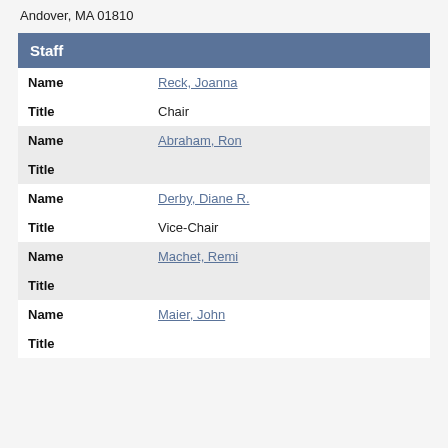Andover, MA 01810
| Field | Value |
| --- | --- |
| Name | Reck, Joanna |
| Title | Chair |
| Name | Abraham, Ron |
| Title |  |
| Name | Derby, Diane R. |
| Title | Vice-Chair |
| Name | Machet, Remi |
| Title |  |
| Name | Maier, John |
| Title |  |